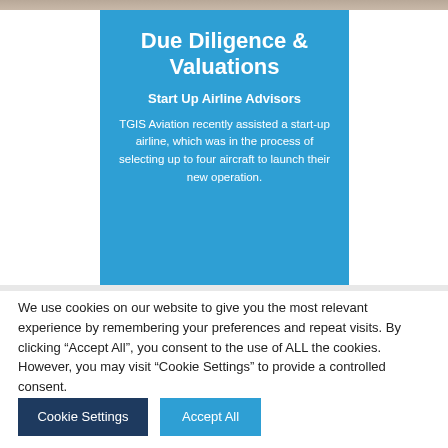[Figure (photo): Top strip showing a partial photo background (aircraft or similar aerial image)]
Due Diligence & Valuations
Start Up Airline Advisors
TGIS Aviation recently assisted a start-up airline, which was in the process of selecting up to four aircraft to launch their new operation.
We use cookies on our website to give you the most relevant experience by remembering your preferences and repeat visits. By clicking "Accept All", you consent to the use of ALL the cookies. However, you may visit "Cookie Settings" to provide a controlled consent.
Cookie Settings | Accept All